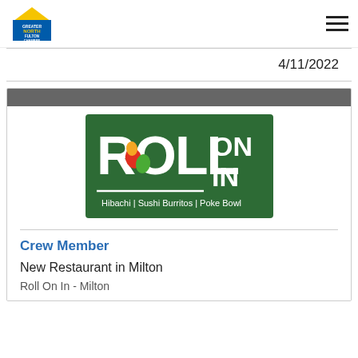Greater North Fulton Chamber
4/11/2022
[Figure (logo): Roll On In restaurant logo on green background. Text reads: ROLL ON IN. Hibachi | Sushi Burritos | Poke Bowl. Features colorful vegetable icons.]
Crew Member
New Restaurant in Milton
Roll On In - Milton